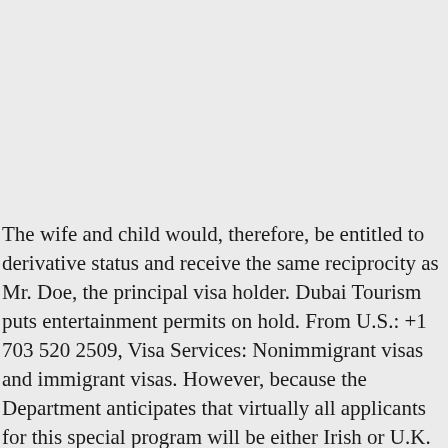The wife and child would, therefore, be entitled to derivative status and receive the same reciprocity as Mr. Doe, the principal visa holder. Dubai Tourism puts entertainment permits on hold. From U.S.: +1 703 520 2509, Visa Services: Nonimmigrant visas and immigrant visas. However, because the Department anticipates that virtually all applicants for this special program will be either Irish or U.K. nationals, the Q-2 and Q-3 categories have been placed only in the reciprocity schedules for those two countries. Procedure for Obtaining: Police